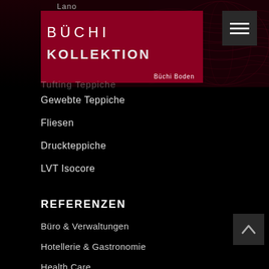Lano
[Figure (screenshot): Büchi Kollektion website header with red branding box showing BÜCHI and KOLLEKTION text, hamburger menu icon, and dark background with textile pattern]
Tufting Teppiche
Gewebte Teppiche
Fliesen
Druckteppiche
LVT Isocore
REFERENZEN
Büro & Verwaltungen
Hotellerie & Gastronomie
Health Care
Senioren Residenzen
Ladenbau & Entertainment